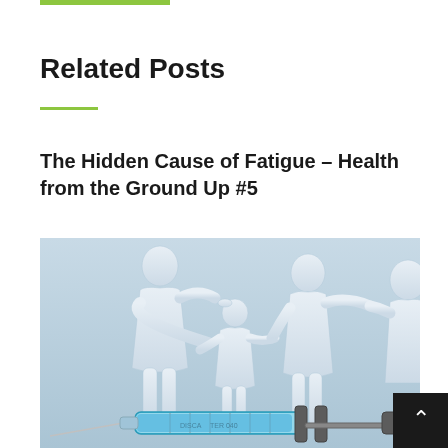Related Posts
The Hidden Cause of Fatigue – Health from the Ground Up #5
[Figure (photo): Photo showing paper cutout figures of a family (adult woman, child, adult man) holding hands on a light blue background, with a syringe/needle with blue liquid in the foreground.]